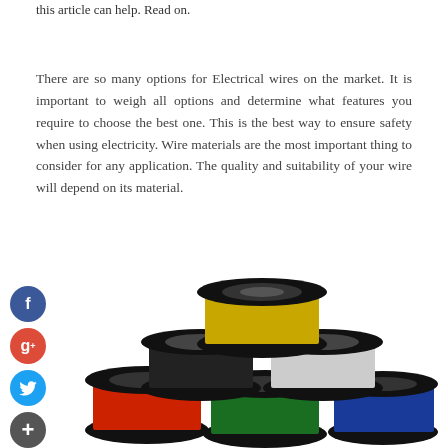this article can help. Read on.
There are so many options for Electrical wires on the market. It is important to weigh all options and determine what features you require to choose the best one. This is the best way to ensure safety when using electricity. Wire materials are the most important thing to consider for any application. The quality and suitability of your wire will depend on its material.
[Figure (photo): Stack of five colored wire spools arranged in a pyramid: yellow on top, black and silver/white in the middle row, red and green and blue on the bottom row.]